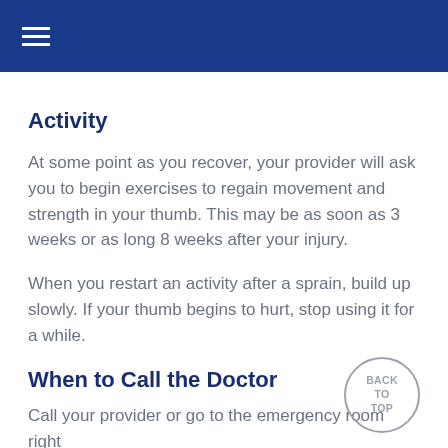≡ (hamburger menu)
Activity
At some point as you recover, your provider will ask you to begin exercises to regain movement and strength in your thumb. This may be as soon as 3 weeks or as long 8 weeks after your injury.
When you restart an activity after a sprain, build up slowly. If your thumb begins to hurt, stop using it for a while.
When to Call the Doctor
Call your provider or go to the emergency room right away if you have: